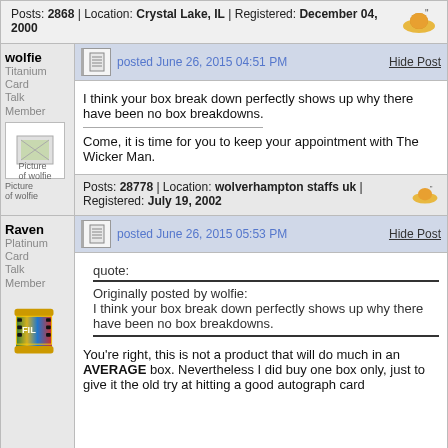Posts: 2868 | Location: Crystal Lake, IL | Registered: December 04, 2000
wolfie
Titanium Card Talk Member
posted June 26, 2015 04:51 PM
Hide Post
I think your box break down perfectly shows up why there have been no box breakdowns.
Come, it is time for you to keep your appointment with The Wicker Man.
Posts: 28778 | Location: wolverhampton staffs uk | Registered: July 19, 2002
Raven
Platinum Card Talk Member
posted June 26, 2015 05:53 PM
Hide Post
quote:
Originally posted by wolfie:
I think your box break down perfectly shows up why there have been no box breakdowns.
You're right, this is not a product that will do much in an AVERAGE box. Nevertheless I did buy one box only, just to give it the old try at hitting a good autograph card